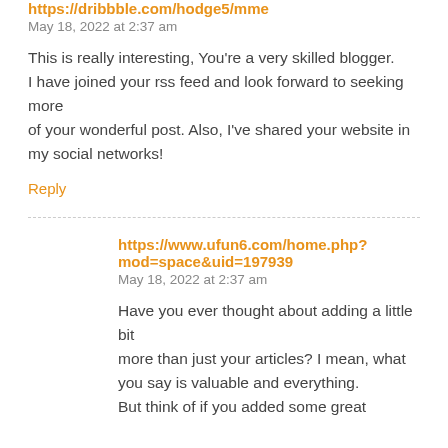https://dribbble.com/hodge5/mme
May 18, 2022 at 2:37 am
This is really interesting, You're a very skilled blogger.
I have joined your rss feed and look forward to seeking more
of your wonderful post. Also, I've shared your website in my social networks!
Reply
https://www.ufun6.com/home.php?mod=space&uid=197939
May 18, 2022 at 2:37 am
Have you ever thought about adding a little bit
more than just your articles? I mean, what you say is valuable and everything.
But think of if you added some great